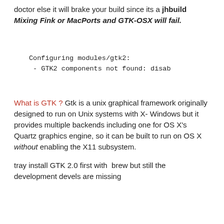doctor else it will brake your build since its a jhbuild Mixing Fink or MacPorts and GTK-OSX will fail.
Configuring modules/gtk2:
 - GTK2 components not found: disab
What is GTK ? Gtk is a unix graphical framework originally designed to run on Unix systems with X-Windows but it provides multiple backends including one for OS X’s Quartz graphics engine, so it can be built to run on OS X without enabling the X11 subsystem.
tray install GTK 2.0 first with  brew but still the development devels are missing